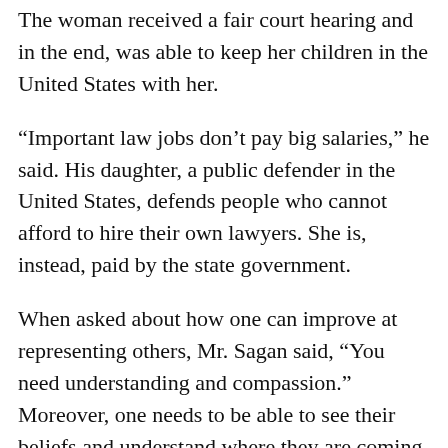The woman received a fair court hearing and in the end, was able to keep her children in the United States with her.
“Important law jobs don’t pay big salaries,” he said. His daughter, a public defender in the United States, defends people who cannot afford to hire their own lawyers. She is, instead, paid by the state government.
When asked about how one can improve at representing others, Mr. Sagan said, “You need understanding and compassion.” Moreover, one needs to be able to see their beliefs and understand where they are coming from in hopes to find a common ground with what one believes in and what another believes in.
However, Mr. Sagan said, “I find it difficult, impossible, to represent somebody who I didn’t like or